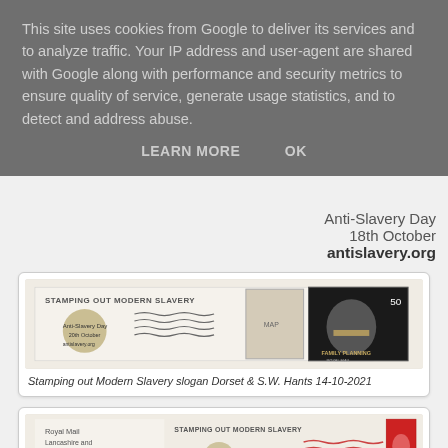This site uses cookies from Google to deliver its services and to analyze traffic. Your IP address and user-agent are shared with Google along with performance and security metrics to ensure quality of service, generate usage statistics, and to detect and address abuse.
LEARN MORE   OK
Anti-Slavery Day
18th October
antislavery.org
[Figure (photo): Postal cancellation/slogan showing 'STAMPING OUT MODERN SLAVERY' with Anti-Slavery Day logo, 20th October, antislavery.org, alongside two postage stamps - one showing a map and one showing a 50p 'Family Planning' stamp with a person's face covered by tape.]
Stamping out Modern Slavery slogan Dorset & S.W. Hants 14-10-2021
[Figure (photo): Postal cancellation showing Royal Mail Lancashire and South Lakes 14/10/2021 18:59:12 with 'STAMPING OUT MODERN SLAVERY' slogan and Anti-Slavery Day logo, alongside a red Queen Elizabeth II definitive stamp.]